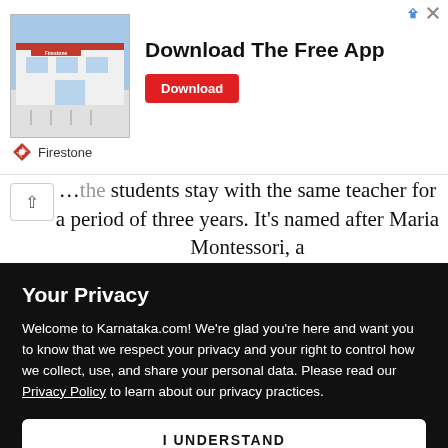[Figure (screenshot): Firestone app advertisement banner with store photo, 'Download The Free App' text, and Download button]
the students stay with the same teacher for a period of three years. It's named after Maria Montessori, a
Your Privacy
Welcome to Karnataka.com! We're glad you're here and want you to know that we respect your privacy and your right to control how we collect, use, and share your personal data. Please read our Privacy Policy to learn about our privacy practices.
I UNDERSTAND